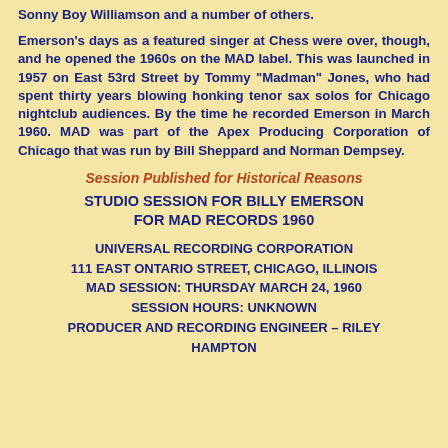Sonny Boy Williamson and a number of others.
Emerson's days as a featured singer at Chess were over, though, and he opened the 1960s on the MAD label. This was launched in 1957 on East 53rd Street by Tommy "Madman" Jones, who had spent thirty years blowing honking tenor sax solos for Chicago nightclub audiences. By the time he recorded Emerson in March 1960. MAD was part of the Apex Producing Corporation of Chicago that was run by Bill Sheppard and Norman Dempsey.
Session Published for Historical Reasons
STUDIO SESSION FOR BILLY EMERSON FOR MAD RECORDS 1960
UNIVERSAL RECORDING CORPORATION
111 EAST ONTARIO STREET, CHICAGO, ILLINOIS
MAD SESSION: THURSDAY MARCH 24, 1960
SESSION HOURS: UNKNOWN
PRODUCER AND RECORDING ENGINEER – RILEY HAMPTON